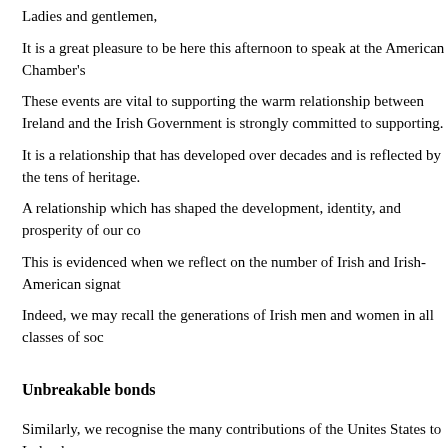Ladies and gentlemen,
It is a great pleasure to be here this afternoon to speak at the American Chamber's
These events are vital to supporting the warm relationship between Ireland and the Irish Government is strongly committed to supporting.
It is a relationship that has developed over decades and is reflected by the tens of heritage.
A relationship which has shaped the development, identity, and prosperity of our co
This is evidenced when we reflect on the number of Irish and Irish-American signat
Indeed, we may recall the generations of Irish men and women in all classes of soc
Unbreakable bonds
Similarly, we recognise the many contributions of the Unites States to Ireland.
We recall the role played by US Presidents and politicians such as Senator George
An achievement which has brought a lasting peace to Northern Ireland after years
I would also like to welcome our guest of honor this afternoon, Ambassador Edward
The son of Irish immigrants to America, the Ambassador presented credentials to President Pence, himself the grandson of an Irishman.
Like Henry Ford, Ambassador Crawford is a successful Midwest entrepreneur and